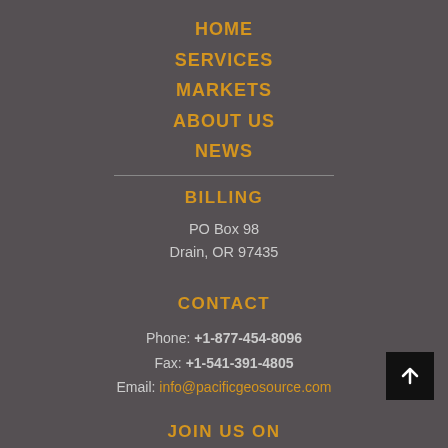HOME
SERVICES
MARKETS
ABOUT US
NEWS
BILLING
PO Box 98
Drain, OR 97435
CONTACT
Phone: +1-877-454-8096
Fax: +1-541-391-4805
Email: info@pacificgeosource.com
JOIN US ON